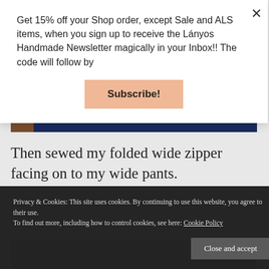Get 15% off your Shop order, except Sale and ALS items, when you sign up to receive the Lányos Handmade Newsletter magically in your Inbox!! The code will follow by
Subscribe!
[Figure (screenshot): Social media post strip showing a dark blue background with the text 'Nice dress! I made it!!' in white, and a small brown image on the left.]
Then sewed my folded wide zipper facing on to my wide pants.
Privacy & Cookies: This site uses cookies. By continuing to use this website, you agree to their use.
To find out more, including how to control cookies, see here: Cookie Policy
Close and accept
[Figure (photo): Bottom strip of a photo showing denim fabric with a zipper.]